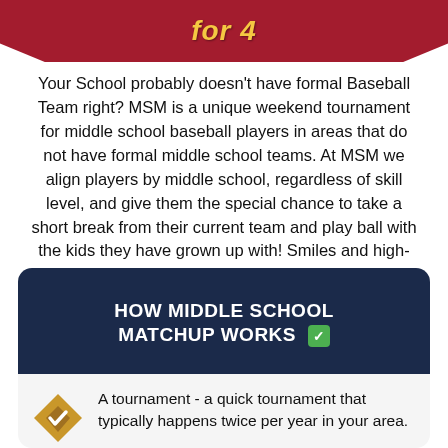for 4
Your School probably doesn't have formal Baseball Team right? MSM is a unique weekend tournament for middle school baseball players in areas that do not have formal middle school teams. At MSM we align players by middle school, regardless of skill level, and give them the special chance to take a short break from their current team and play ball with the kids they have grown up with! Smiles and high-fives are guaranteed.
HOW MIDDLE SCHOOL MATCHUP WORKS ✅
A tournament - a quick tournament that typically happens twice per year in your area.